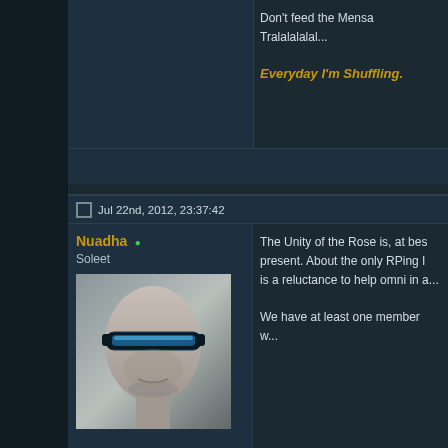Don't feed the Mensa Tralalalalal...
Everyday I'm Shuffling.
Jul 22nd, 2012, 23:37:42
Nuadha
Soleet
[Figure (photo): Forum avatar: cyborg/android head with blue visor]
The Unity of the Rose is, at bes... present. About the only RPing I... is a reluctance to help omni in a...
We have at least one member w...
Aug 12th, 2012, 21:24:49
Scratchnsnif
Leetas
[Figure (photo): Forum avatar: female character with dark hair]
Originally Posted by N...
*bump*
I think Nuadha is talking about...